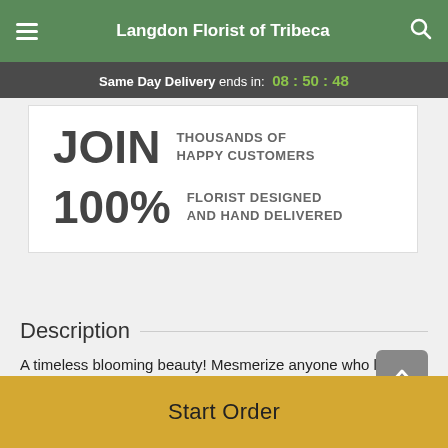Langdon Florist of Tribeca
Same Day Delivery ends in: 08 : 50 : 48
JOIN THOUSANDS OF HAPPY CUSTOMERS
100% FLORIST DESIGNED AND HAND DELIVERED
Description
A timeless blooming beauty! Mesmerize anyone who lays eyes on these captivating pink blooms—the perfect "just because" ...
Start Order